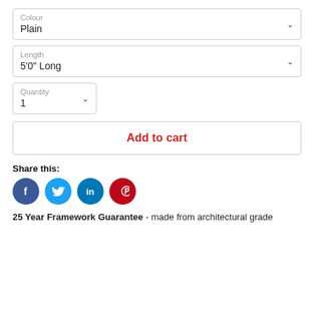Colour: Plain
Length: 5'0" Long
Quantity: 1
Add to cart
Share this:
[Figure (infographic): Four social media icons: Facebook (dark blue), Twitter (light blue), LinkedIn (teal/blue), Pinterest (red)]
25 Year Framework Guarantee - made from architectural grade